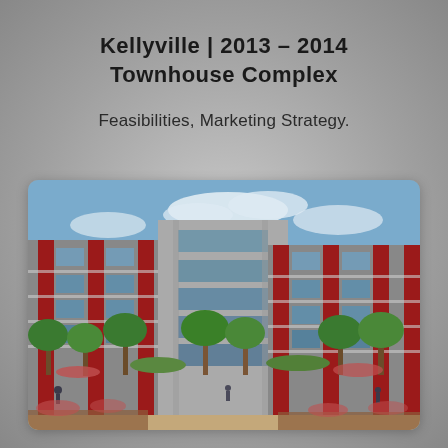Kellyville | 2013 – 2014
Townhouse Complex
Feasibilities, Marketing Strategy.
[Figure (photo): Architectural rendering of a modern multi-storey townhouse complex with red structural columns/frames, grey concrete facades, balconies, large glazed windows. Surrounded by trees, landscaped gardens, and pedestrian pathways with people walking. Blue sky with clouds in background.]